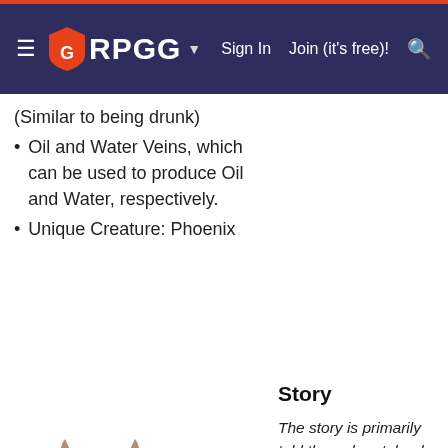RPGG | Sign In | Join (it's free)!
(Similar to being drunk)
Oil and Water Veins, which can be used to produce Oil and Water, respectively.
Unique Creature: Phoenix
[Figure (illustration): A fennec fox-like creature standing upright on two legs with a long tail, rendered in 3D game art style.]
Story
The story is primarily told through notebooks and journals hidden all over the island, and through cutscenes that play after defeating all the bosses on each map. The Explorer Notes are either a Dossier or a piece of narrative from actual s
Helena and Rockwell meet the dragon riding priestess of Ancient Egypt - Wali al Aswad, and learn that each art environment (a space station) orbiting earth acts as e